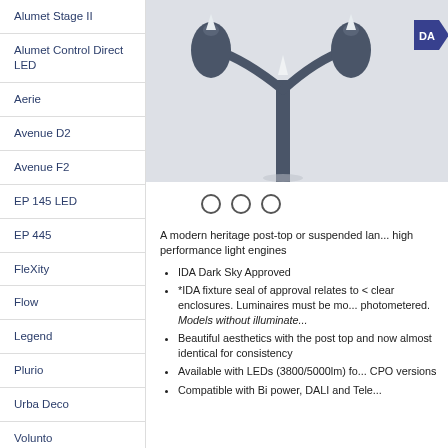Alumet Stage II
Alumet Control Direct LED
Aerie
Avenue D2
Avenue F2
EP 145 LED
EP 445
FleXity
Flow
Legend
Plurio
Urba Deco
Volunto
[Figure (photo): Modern heritage post-top street lamp fixture on a pole, partially cropped, with a DA award badge visible]
A modern heritage post-top or suspended lantern with high performance light engines
IDA Dark Sky Approved
*IDA fixture seal of approval relates to <... clear enclosures. Luminaires must be mo... photometered. Models without illuminate...
Beautiful aesthetics with the post top and... now almost identical for consistency
Available with LEDs (3800/5000lm) fo... CPO versions
Compatible with Bi power, DALI and Tele...